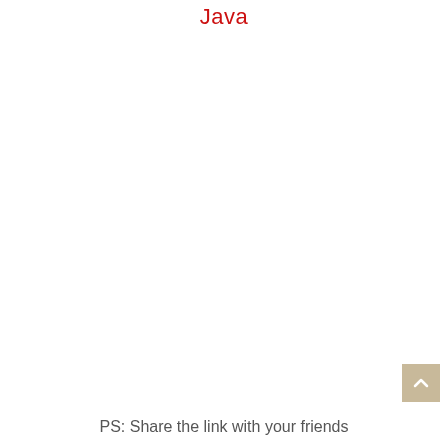Java
PS: Share the link with your friends